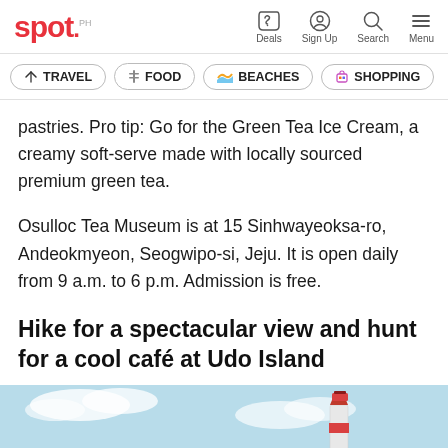spot. | Deals | Sign Up | Search | Menu
TRAVEL
FOOD
BEACHES
SHOPPING
pastries. Pro tip: Go for the Green Tea Ice Cream, a creamy soft-serve made with locally sourced premium green tea.
Osulloc Tea Museum is at 15 Sinhwayeoksa-ro, Andeokmyeon, Seogwipo-si, Jeju. It is open daily from 9 a.m. to 6 p.m. Admission is free.
Hike for a spectacular view and hunt for a cool café at Udo Island
[Figure (photo): Partial view of a lighthouse at Udo Island against a light blue sky with clouds]